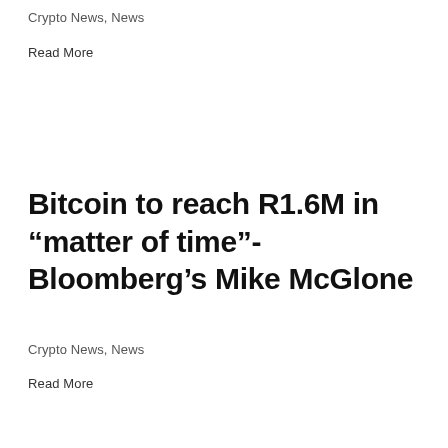Crypto News, News
Read More
Bitcoin to reach R1.6M in “matter of time”-Bloomberg’s Mike McGlone
Crypto News, News
Read More